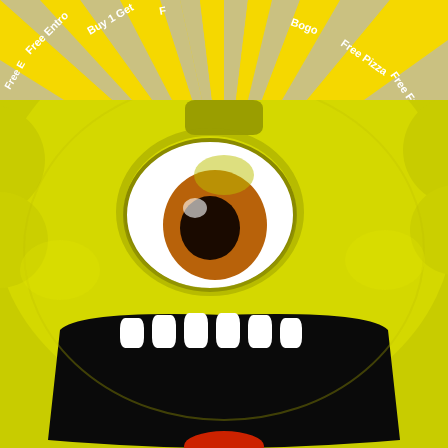[Figure (illustration): Top banner section with yellow sunburst/ray pattern radiating from center, with white rotating text on grey/silver rays reading promotional offers: 'Free Entro', 'Buy 1 Get', 'Free Pizza', 'Free Friz', 'Bogo' repeated around the burst pattern]
[Figure (illustration): Close-up 3D rendered yellow cartoon monster/creature face with one large cyclops eye (white sclera with brown/orange iris and black pupil), wide open mouth showing white teeth at bottom, yellow bumpy textured skin with circular nodules visible on sides. A red tongue is barely visible at the very bottom edge.]